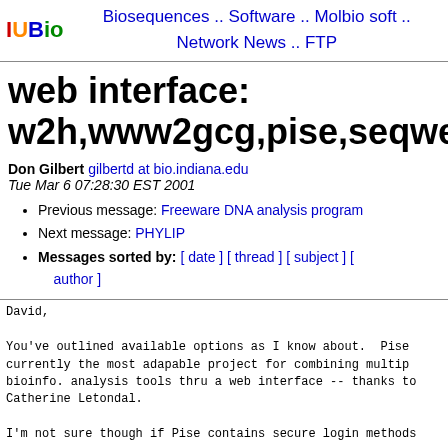IUBio | Biosequences .. Software .. Molbio soft .. Network News .. FTP
web interface: w2h,www2gcg,pise,seqweb?
Don Gilbert gilbertd at bio.indiana.edu
Tue Mar 6 07:28:30 EST 2001
Previous message: Freeware DNA analysis program
Next message: PHYLIP
Messages sorted by: [ date ] [ thread ] [ subject ] [ author ]
David,

You've outlined available options as I know about.  Pise currently the most adapable project for combining multip bioinfo. analysis tools thru a web interface -- thanks to Catherine Letondal.

I'm not sure though if Pise contains secure login methods